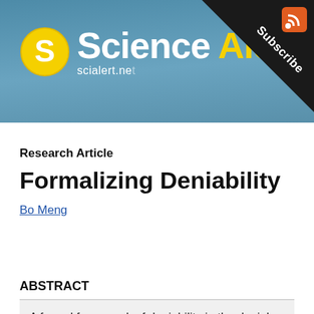[Figure (logo): ScienceAlert website header banner with logo (yellow circle with S), 'Science Alert' text in white and yellow, scialert.net URL, and a Subscribe corner ribbon with RSS icon on a blue-grey gradient background.]
Research Article
Formalizing Deniability
Bo Meng
ABSTRACT
A formal framework of deniability in the deniab